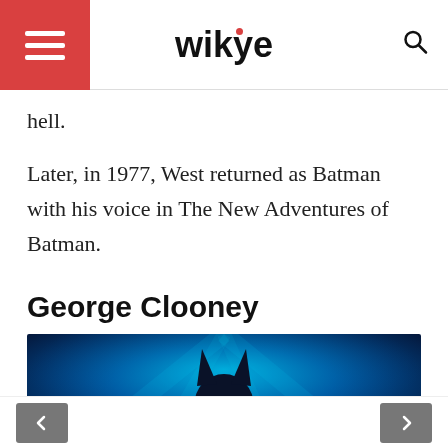wikye
hell.
Later, in 1977, West returned as Batman with his voice in The New Adventures of Batman.
George Clooney
[Figure (photo): Photo of Batman (George Clooney) in Batman costume with blue-lit background, showing upper body and cowl.]